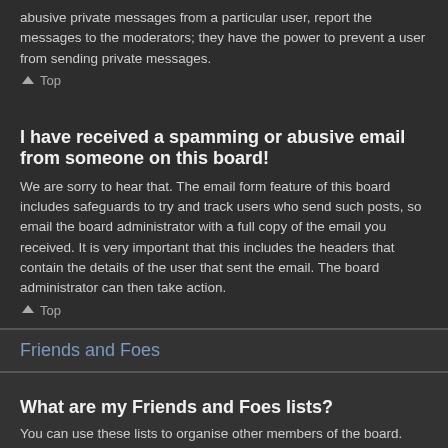abusive private messages from a particular user, report the messages to the moderators; they have the power to prevent a user from sending private messages.
Top
I have received a spamming or abusive email from someone on this board!
We are sorry to hear that. The email form feature of this board includes safeguards to try and track users who send such posts, so email the board administrator with a full copy of the email you received. It is very important that this includes the headers that contain the details of the user that sent the email. The board administrator can then take action.
Top
Friends and Foes
What are my Friends and Foes lists?
You can use these lists to organise other members of the board. Members added to your friends list will be listed within your User Control Panel for quick access to see their online status and to send them private messages. Subject to template support, posts from these users may also